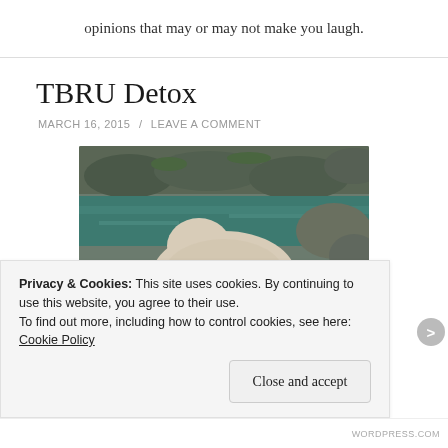opinions that may or may not make you laugh.
TBRU Detox
MARCH 16, 2015 / LEAVE A COMMENT
[Figure (photo): Photo of a polar bear from behind, near turquoise water and rocky background]
Privacy & Cookies: This site uses cookies. By continuing to use this website, you agree to their use.
To find out more, including how to control cookies, see here: Cookie Policy
Close and accept